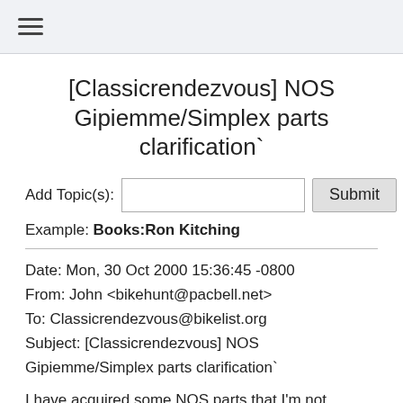≡ (hamburger menu)
[Classicrendezvous] NOS Gipiemme/Simplex parts clarification`
Add Topic(s): [input] Submit
Example: Books:Ron Kitching
Date: Mon, 30 Oct 2000 15:36:45 -0800
From: John <bikehunt@pacbell.net>
To: Classicrendezvous@bikelist.org
Subject: [Classicrendezvous] NOS Gipiemme/Simplex parts clarification`
I have acquired some NOS parts that I'm not familiar